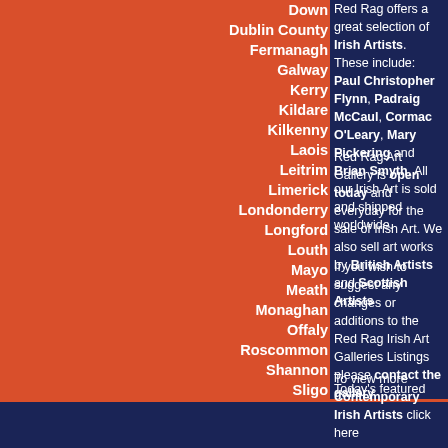Down
Dublin County
Fermanagh
Galway
Kerry
Kildare
Kilkenny
Laois
Leitrim
Limerick
Londonderry
Longford
Louth
Mayo
Meath
Monaghan
Offaly
Roscommon
Shannon
Sligo
Tipperary
Tyrone
Waterford
Westmeath
Wexford
Wicklow
Red Rag offers a great selection of Irish Artists. These include: Paul Christopher Flynn, Padraig McCaul, Cormac O'Leary, Mary Pickering and Brian Smyth. All our Irish Art is sold and shipped worldwide.
Red Rag Art Gallery is open today and everyday for the sale of Irish Art. We also sell art works by British Artists and Scottish Artists
If you wish to suggest any changes or additions to the Red Rag Irish Art Galleries Listings please contact the gallery
Today's featured contemporary artist in the Red Rag Irish Art Gallery Directory is Cormac O'LEARY. Click on the image below to view more art works from Cormac O'LEARY.
Cormac O'LEARY
To view more Contemporary Irish Artists click here